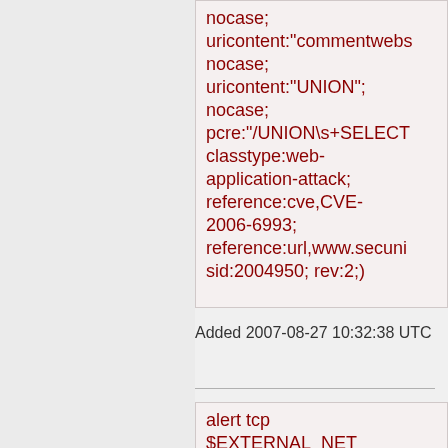nocase; uricontent:"commentwebs nocase; uricontent:"UNION"; nocase; pcre:"/UNION\s+SELECT classtype:web-application-attack; reference:cve,CVE-2006-6993; reference:url,www.secuni sid:2004950; rev:2;)
Added 2007-08-27 10:32:38 UTC
alert tcp $EXTERNAL_NET any -> $HTTP_SERVERS